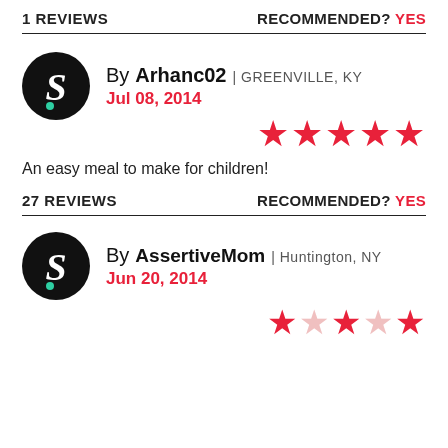1 REVIEWS        RECOMMENDED? YES
By Arhanc02 | GREENVILLE, KY
Jul 08, 2014
★★★★★
An easy meal to make for children!
27 REVIEWS        RECOMMENDED? YES
By AssertiveMom | Huntington, NY
Jun 20, 2014
★★★★★ (partial)